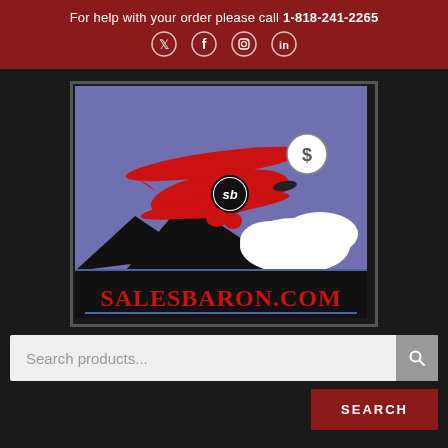For help with your order please call 1-818-241-2265
[Figure (logo): Sales Baron logo featuring a red biplane with 'sb' emblem on the fuselage and a dollar sign badge, flying above mountains and clouds, with 'SALESBARON.COM' text below in red on black background]
Search products...
SEARCH